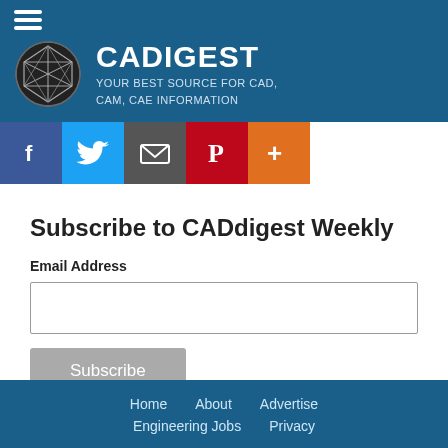[Figure (logo): CADdigest website header with logo icon (geometric sphere/icosahedron), site name CADDIGEST, and tagline YOUR BEST SOURCE FOR CAD, CAM, CAE INFORMATION on blue background]
[Figure (infographic): Social media sharing buttons: Facebook (blue), Twitter (light blue), Email/share (dark gray), Pinterest (red), More/plus (orange)]
Subscribe to CADdigest Weekly
Email Address
Home   About   Advertise   Engineering Jobs   Privacy